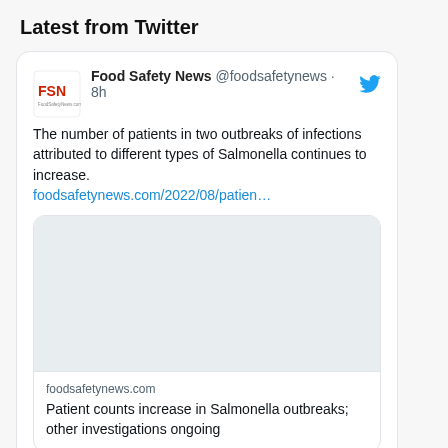Latest from Twitter
[Figure (screenshot): Tweet from Food Safety News (@foodsafetynews) posted 8h ago. Text: 'The number of patients in two outbreaks of infections attributed to different types of Salmonella continues to increase. foodsafetynews.com/2022/08/patien...' With embedded link preview card showing domain 'foodsafetynews.com' and title 'Patient counts increase in Salmonella outbreaks; other investigations ongoing']